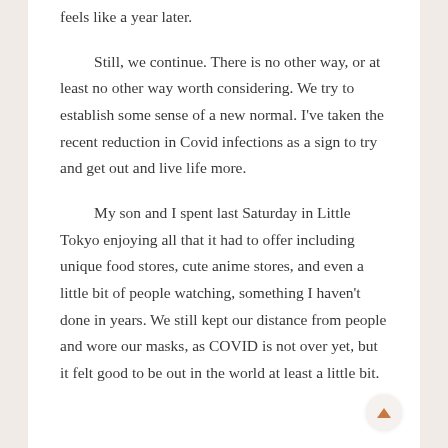feels like a year later.
Still, we continue. There is no other way, or at least no other way worth considering. We try to establish some sense of a new normal. I've taken the recent reduction in Covid infections as a sign to try and get out and live life more.
My son and I spent last Saturday in Little Tokyo enjoying all that it had to offer including unique food stores, cute anime stores, and even a little bit of people watching, something I haven't done in years. We still kept our distance from people and wore our masks, as COVID is not over yet, but it felt good to be out in the world at least a little bit.